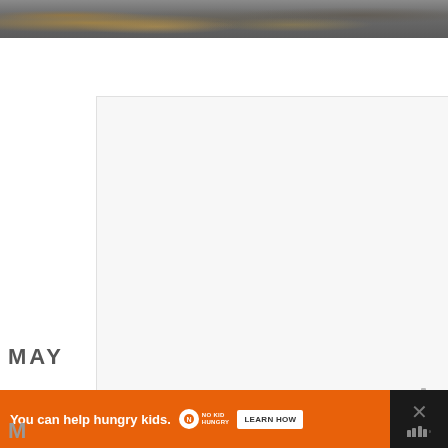[Figure (photo): Top strip of a photo showing a dark gritty surface (asphalt or concrete) with scattered crumbs, seeds or pebbles visible]
[Figure (photo): Large white/light gray blank area — appears to be a blank recipe card or content area with a light background]
w° (watermark logo with bars and degree symbol)
MAY
[Figure (infographic): Advertisement banner: orange background with 'You can help hungry kids.' text, No Kid Hungry logo, and 'LEARN HOW' button. Has a close X button.]
M (partial letter at bottom left in black bar)
w° (bars+degree logo in bottom right dark area)